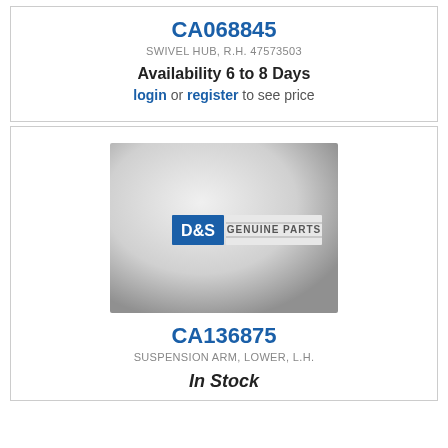CA068845
SWIVEL HUB, R.H. 47573503
Availability 6 to 8 Days
login or register to see price
[Figure (logo): D&S Genuine Parts placeholder product image with logo on grey gradient background]
CA136875
SUSPENSION ARM, LOWER, L.H.
In Stock